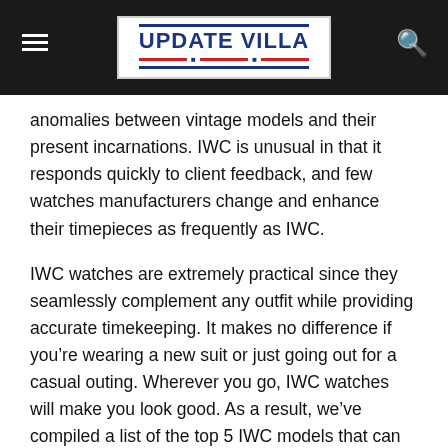UPDATE VILLA
anomalies between vintage models and their present incarnations. IWC is unusual in that it responds quickly to client feedback, and few watches manufacturers change and enhance their timepieces as frequently as IWC.
IWC watches are extremely practical since they seamlessly complement any outfit while providing accurate timekeeping. It makes no difference if you’re wearing a new suit or just going out for a casual outing. Wherever you go, IWC watches will make you look good. As a result, we’ve compiled a list of the top 5 IWC models that can help you stand out from the crowd.
IWC Portugieser Tourbillon Edition “150 Years”